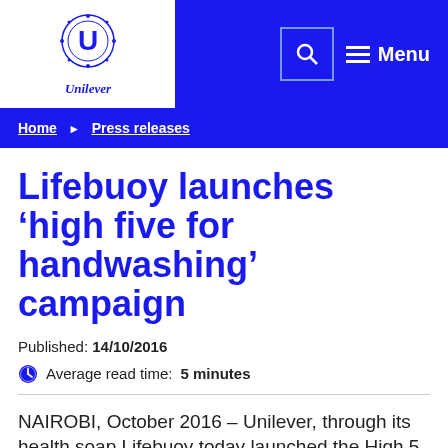[Figure (logo): Unilever logo with decorative U symbol and 'Unilever' text below]
Search  Menu
Home > Press releases
Lifebuoy launches ‘high five for handwashing’ campaign
Published: 14/10/2016
Average read time: 5 minutes
NAIROBI, October 2016 – Unilever, through its health soap Lifebuoy today launched the High 5 for handwashing campaign to